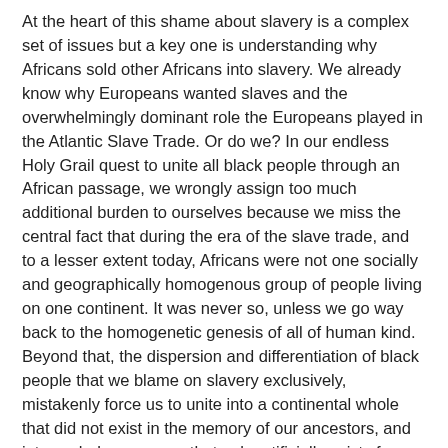At the heart of this shame about slavery is a complex set of issues but a key one is understanding why Africans sold other Africans into slavery. We already know why Europeans wanted slaves and the overwhelmingly dominant role the Europeans played in the Atlantic Slave Trade. Or do we? In our endless Holy Grail quest to unite all black people through an African passage, we wrongly assign too much additional burden to ourselves because we miss the central fact that during the era of the slave trade, and to a lesser extent today, Africans were not one socially and geographically homogenous group of people living on one continent. It was never so, unless we go way back to the homogenetic genesis of all of human kind. Beyond that, the dispersion and differentiation of black people that we blame on slavery exclusively, mistakenly force us to unite into a continental whole that did not exist in the memory of our ancestors, and into a wholesomeness that only artificially exists for other races. After all, the two World Wars can be seen as European tribal wars to a large extent.
Domestic slavery existed in Africa before the Atlantic slave trade. In fact, many forms of domestic slavery were